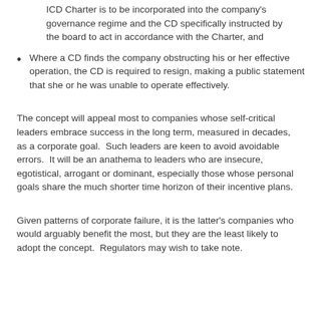ICD Charter is to be incorporated into the company's governance regime and the CD specifically instructed by the board to act in accordance with the Charter, and
Where a CD finds the company obstructing his or her effective operation, the CD is required to resign, making a public statement that she or he was unable to operate effectively.
The concept will appeal most to companies whose self-critical leaders embrace success in the long term, measured in decades, as a corporate goal.  Such leaders are keen to avoid avoidable errors.  It will be an anathema to leaders who are insecure, egotistical, arrogant or dominant, especially those whose personal goals share the much shorter time horizon of their incentive plans.
Given patterns of corporate failure, it is the latter’s companies who would arguably benefit the most, but they are the least likely to adopt the concept.  Regulators may wish to take note.